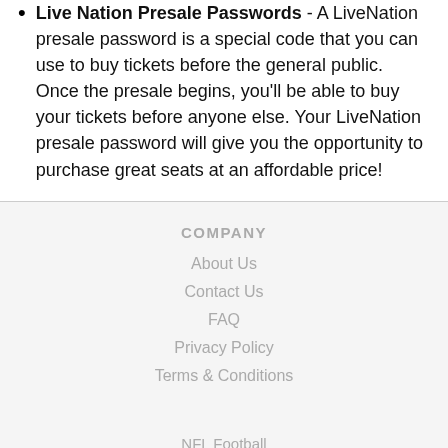Live Nation Presale Passwords - A LiveNation presale password is a special code that you can use to buy tickets before the general public. Once the presale begins, you'll be able to buy your tickets before anyone else. Your LiveNation presale password will give you the opportunity to purchase great seats at an affordable price!
COMPANY | About Us | Contact Us | FAQ | Privacy Policy | Terms & Conditions | NFL Football